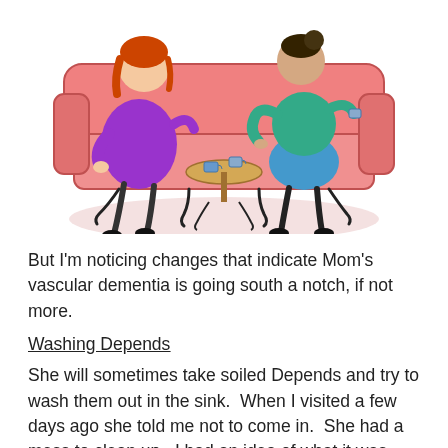[Figure (illustration): Clipart illustration of two women sitting on a pink sofa/couch, facing each other and having a conversation over tea. One woman has red hair and wears a purple outfit; the other has dark hair in a bun and wears a teal/green outfit with blue skirt. There is a small round table between them with cups on it. The scene has a light pink oval shadow beneath the couch.]
But I'm noticing changes that indicate Mom's vascular dementia is going south a notch, if not more.
Washing Depends
She will sometimes take soiled Depends and try to wash them out in the sink.  When I visited a few days ago she told me not to come in.  She had a mess to clean up.  I had an idea of what it was, but I left to visit with other